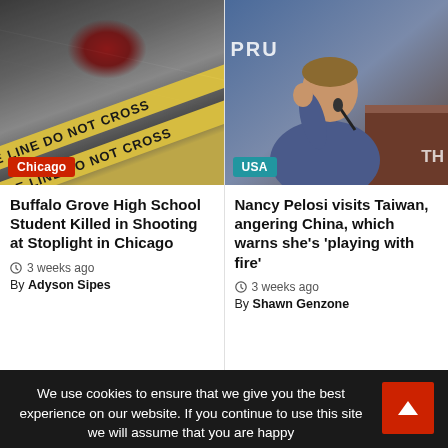[Figure (photo): Crime scene yellow police tape with blood splatter on pavement, with 'Chicago' red tag label in bottom left]
Buffalo Grove High School Student Killed in Shooting at Stoplight in Chicago
3 weeks ago
By Adyson Sipes
[Figure (photo): Nancy Pelosi speaking at a podium, with 'USA' blue tag label in bottom left]
Nancy Pelosi visits Taiwan, angering China, which warns she’s ‘playing with fire’
3 weeks ago
By Shawn Genzone
We use cookies to ensure that we give you the best experience on our website. If you continue to use this site we will assume that you are happy